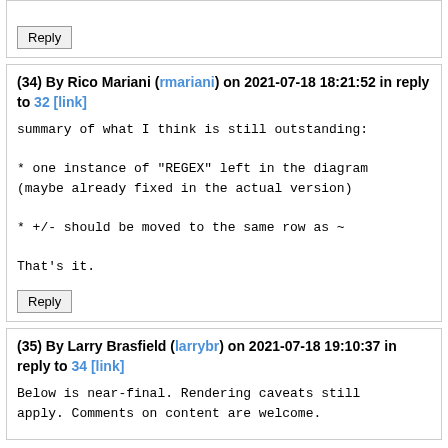[Reply button at top]
(34) By Rico Mariani (rmariani) on 2021-07-18 18:21:52 in reply to 32 [link]
summary of what I think is still outstanding:

* one instance of "REGEX" left in the diagram
(maybe already fixed in the actual version)

* +/- should be moved to the same row as ~

That's it.
Reply
(35) By Larry Brasfield (larrybr) on 2021-07-18 19:10:37 in reply to 34 [link]
Below is near-final. Rendering caveats still apply. Comments on content are welcome.